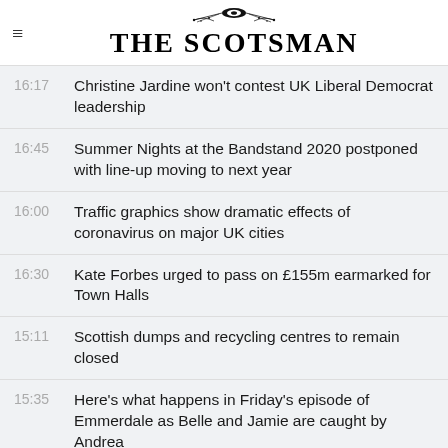THE SCOTSMAN
16:17 Christine Jardine won't contest UK Liberal Democrat leadership
16:45 Summer Nights at the Bandstand 2020 postponed with line-up moving to next year
16:00 Traffic graphics show dramatic effects of coronavirus on major UK cities
16:30 Kate Forbes urged to pass on £155m earmarked for Town Halls
15:11 Scottish dumps and recycling centres to remain closed
15:35 Here's what happens in Friday's episode of Emmerdale as Belle and Jamie are caught by Andrea
15:31 Here's how to use the Google Meet video calling app, and how it's different to Zoom